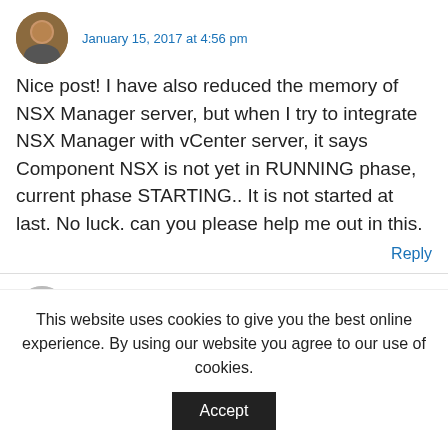January 15, 2017 at 4:56 pm
Nice post! I have also reduced the memory of NSX Manager server, but when I try to integrate NSX Manager with vCenter server, it says Component NSX is not yet in RUNNING phase, current phase STARTING.. It is not started at last. No luck. can you please help me out in this.
Reply
PEER
August 30, 2017 at 1:28 pm
This website uses cookies to give you the best online experience. By using our website you agree to our use of cookies.